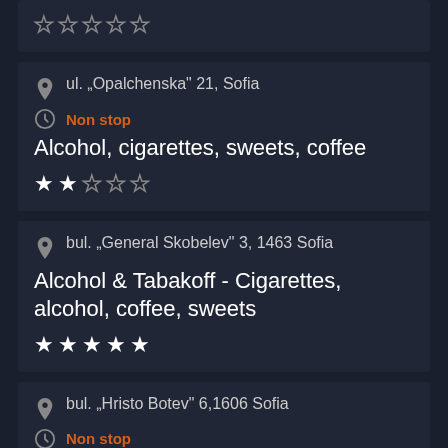★★☆☆☆ (top card, partial)
ul. „Opalchenska" 21, Sofia
Non stop
Alcohol, cigarettes, sweets, coffee
★★☆☆☆
bul. „General Skobelev" 3, 1463 Sofia
Alcohol & Tabakoff - Cigarettes, alcohol, coffee, sweets
★★★★★
bul. „Hristo Botev" 6,1606 Sofia
Non stop
Alcohol, cigarettes, sweets, coffee
☆☆☆☆☆